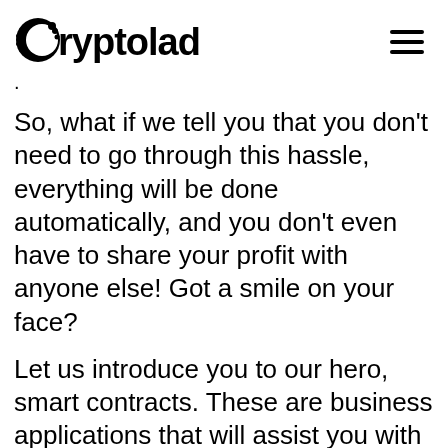Cryptolad
So, what if we tell you that you don't need to go through this hassle, everything will be done automatically, and you don't even have to share your profit with anyone else! Got a smile on your face?
Let us introduce you to our hero, smart contracts. These are business applications that will assist you with data security, ensure your documents